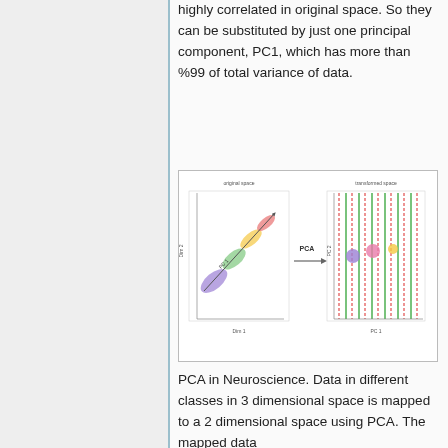highly correlated in original space. So they can be substituted by just one principal component, PC1, which has more than %99 of total variance of data.
[Figure (illustration): PCA illustration showing data in original 3D space (left, colored diagonal scatter plot) mapped via PCA to a 2D space (right, with vertical striped zones and class clusters). Labels include 'PCA' in center, axis labels, and class indicators.]
PCA in Neuroscience. Data in different classes in 3 dimensional space is mapped to a 2 dimensional space using PCA. The mapped data